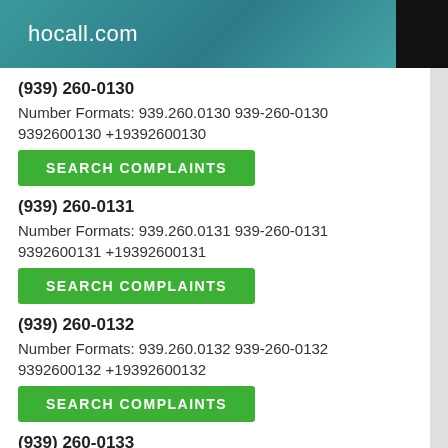hocall.com
(939) 260-0130
Number Formats: 939.260.0130 939-260-0130 9392600130 +19392600130
SEARCH COMPLAINTS
(939) 260-0131
Number Formats: 939.260.0131 939-260-0131 9392600131 +19392600131
SEARCH COMPLAINTS
(939) 260-0132
Number Formats: 939.260.0132 939-260-0132 9392600132 +19392600132
SEARCH COMPLAINTS
(939) 260-0133
Number Formats: 939.260.0133 939-260-0133 9392600133 +19392600133
SEARCH COMPLAINTS